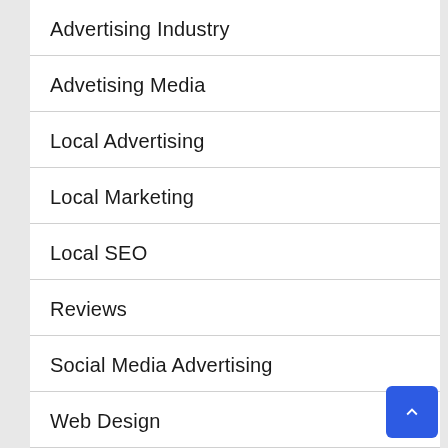Advertising Industry
Advetising Media
Local Advertising
Local Marketing
Local SEO
Reviews
Social Media Advertising
Web Design